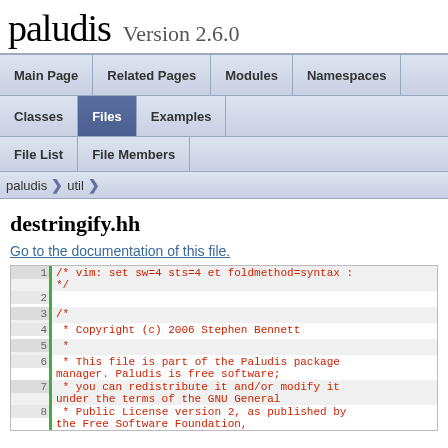paludis Version 2.6.0
Main Page | Related Pages | Modules | Namespaces | Classes | Files | Examples
File List | File Members
paludis > util
destringify.hh
Go to the documentation of this file.
1  /* vim: set sw=4 sts=4 et foldmethod=syntax : */
2
3  /*
4   * Copyright (c) 2006 Stephen Bennett
5   *
6   * This file is part of the Paludis package manager. Paludis is free software;
7   * you can redistribute it and/or modify it under the terms of the GNU General
8   * Public License version 2, as published by the Free Software Foundation,